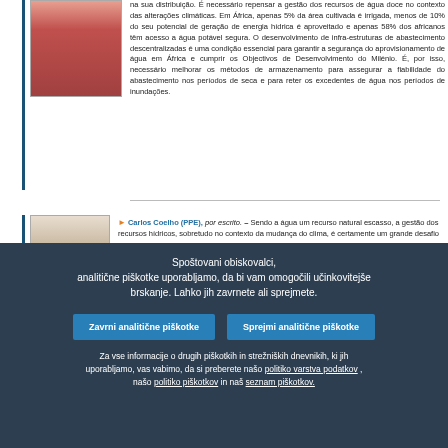na sua distribuição. É necessário repensar a gestão dos recursos de água doce no contexto das alterações climáticas. Em África, apenas 5% da área cultivada é irrigada, menos de 10% do seu potencial de geração de energia hídrica é aproveitado e apenas 58% dos africanos têm acesso a água potável segura. O desenvolvimento de infra-estruturas de abastecimento descentralizadas é uma condição essencial para garantir a segurança do aprovisionamento de água em África e cumprir os Objectivos de Desenvolvimento do Milénio. É, por isso, necessário melhorar os métodos de armazenamento para assegurar a fiabilidade do abastecimento nos períodos de seca e para reter os excedentes de água nos períodos de inundações.
Carlos Coelho (PPE), por escrito. – Sendo a água um recurso natural escasso, a gestão dos recursos hídricos, sobretudo no contexto da mudança do clima, é certamente um grande desafio
Spoštovani obiskovalci,
analitične piškotke uporabljamo, da bi vam omogočili učinkovitejše brskanje. Lahko jih zavrnete ali sprejmete.
Zavrni analitične piškotke
Sprejmi analitične piškotke
Za vse informacije o drugih piškotkih in strežniških dnevnikih, ki jih uporabljamo, vas vabimo, da si preberete našo politiko varstva podatkov , našo politiko piškotkov in naš seznam piškotkov.